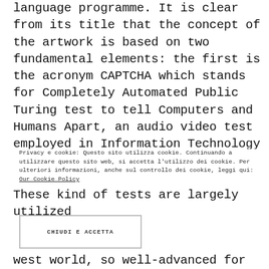language programme. It is clear from its title that the concept of the artwork is based on two fundamental elements: the first is the acronym CAPTCHA which stands for Completely Automated Public Turing test to tell Computers and Humans Apart, an audio video test employed in Information Technology to find out who is behind the real user, a human being or a computer. These kind of tests are largely utilized
Privacy e cookie: Questo sito utilizza cookie. Continuando a utilizzare questo sito web, si accetta l'utilizzo dei cookie. Per ulteriori informazioni, anche sul controllo dei cookie, leggi qui: Our Cookie Policy
CHIUDI E ACCETTA
west world, so well-advanced for that period of